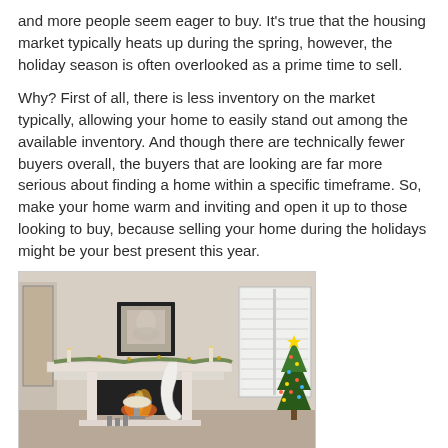and more people seem eager to buy. It's true that the housing market typically heats up during the spring, however, the holiday season is often overlooked as a prime time to sell.
Why? First of all, there is less inventory on the market typically, allowing your home to easily stand out among the available inventory. And though there are technically fewer buyers overall, the buyers that are looking are far more serious about finding a home within a specific timeframe. So, make your home warm and inviting and open it up to those looking to buy, because selling your home during the holidays might be your best present this year.
[Figure (photo): Interior photo of a cozy living room with a white fireplace decorated with garland and a framed picture above the mantle, white shuttered windows, and a decorated Christmas tree with lights on the right side.]